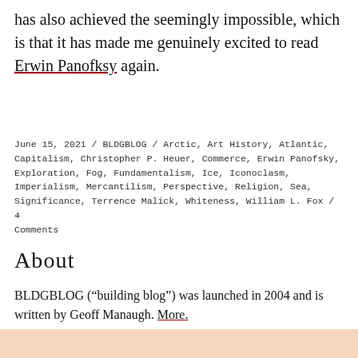has also achieved the seemingly impossible, which is that it has made me genuinely excited to read Erwin Panofksy again.
June 15, 2021 / BLDGBLOG / Arctic, Art History, Atlantic, Capitalism, Christopher P. Heuer, Commerce, Erwin Panofsky, Exploration, Fog, Fundamentalism, Ice, Iconoclasm, Imperialism, Mercantilism, Perspective, Religion, Sea, Significance, Terrence Malick, Whiteness, William L. Fox / 4 Comments
About
BLDGBLOG (“building blog”) was launched in 2004 and is written by Geoff Manaugh. More.